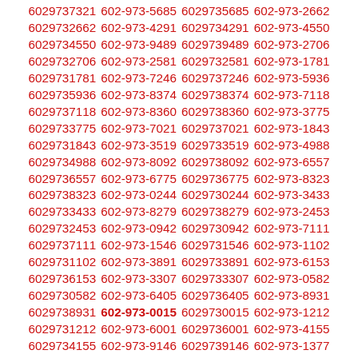6029737498 602-973-9008 6029739008 602-973-6674 6029736674 602-973-9104 6029739104 602-973-7321 6029737321 602-973-5685 6029735685 602-973-2662 6029732662 602-973-4291 6029734291 602-973-4550 6029734550 602-973-9489 6029739489 602-973-2706 6029732706 602-973-2581 6029732581 602-973-1781 6029731781 602-973-7246 6029737246 602-973-5936 6029735936 602-973-8374 6029738374 602-973-7118 6029737118 602-973-8360 6029738360 602-973-3775 6029733775 602-973-7021 6029737021 602-973-1843 6029731843 602-973-3519 6029733519 602-973-4988 6029734988 602-973-8092 6029738092 602-973-6557 6029736557 602-973-6775 6029736775 602-973-8323 6029738323 602-973-0244 6029730244 602-973-3433 6029733433 602-973-8279 6029738279 602-973-2453 6029732453 602-973-0942 6029730942 602-973-7111 6029737111 602-973-1546 6029731546 602-973-1102 6029731102 602-973-3891 6029733891 602-973-6153 6029736153 602-973-3307 6029733307 602-973-0582 6029730582 602-973-6405 6029736405 602-973-8931 6029738931 602-973-0015 6029730015 602-973-1212 6029731212 602-973-6001 6029736001 602-973-4155 6029734155 602-973-9146 6029739146 602-973-1377 6029731377 602-973-4226 6029734226 602-973-5872 6029735872 602-973-6918 6029736918 602-973-7862